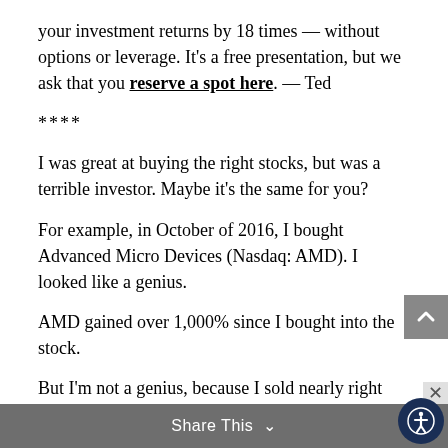your investment returns by 18 times — without options or leverage. It's a free presentation, but we ask that you reserve a spot here. — Ted
****
I was great at buying the right stocks, but was a terrible investor. Maybe it's the same for you?
For example, in October of 2016, I bought Advanced Micro Devices (Nasdaq: AMD). I looked like a genius.
AMD gained over 1,000% since I bought into the stock.
But I'm not a genius, because I sold nearly right away and missed all of those gains...
What happened?